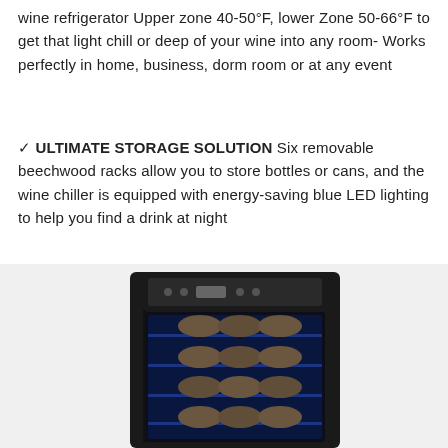wine refrigerator Upper zone 40-50°F, lower Zone 50-66°F to get that light chill or deep of your wine into any room- Works perfectly in home, business, dorm room or at any event
✓ ULTIMATE STORAGE SOLUTION Six removable beechwood racks allow you to store bottles or cans, and the wine chiller is equipped with energy-saving blue LED lighting to help you find a drink at night
[Figure (photo): A dark/black wine refrigerator with a glass front door, showing multiple shelves of wine bottles illuminated by blue LED lighting inside, with a digital control panel at the top.]